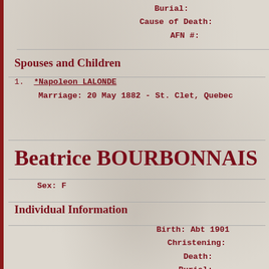Burial:
Cause of Death:
AFN #:
Spouses and Children
1. *Napoleon LALONDE
      Marriage: 20 May 1882 - St. Clet, Quebec
Beatrice BOURBONNAIS
Sex: F
Individual Information
Birth: Abt 1901
Christening:
Death:
Burial: